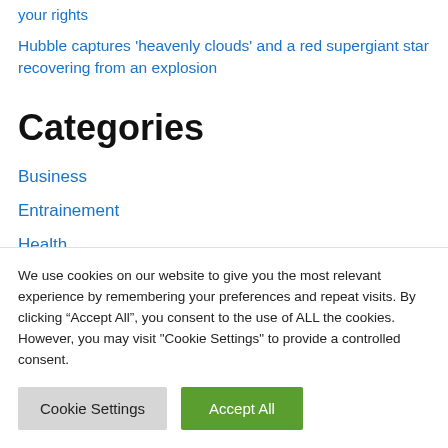your rights
Hubble captures ‘heavenly clouds’ and a red supergiant star recovering from an explosion
Categories
Business
Entrainement
Health
We use cookies on our website to give you the most relevant experience by remembering your preferences and repeat visits. By clicking “Accept All”, you consent to the use of ALL the cookies. However, you may visit "Cookie Settings" to provide a controlled consent.
Cookie Settings | Accept All